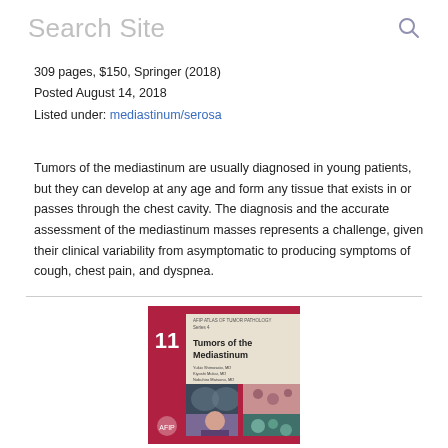Search Site
309 pages, $150, Springer (2018)
Posted August 14, 2018
Listed under: mediastinum/serosa
Tumors of the mediastinum are usually diagnosed in young patients, but they can develop at any age and form any tissue that exists in or passes through the chest cavity. The diagnosis and the accurate assessment of the mediastinum masses represents a challenge, given their clinical variability from asymptomatic to producing symptoms of cough, chest pain, and dyspnea.
[Figure (photo): Book cover of 'Tumors of the Mediastinum' — AFIP Atlas of Tumor Pathology Series 4, number 11, with a red/crimson spine showing the number 11, beige cover with medical microscopy and imaging photographs.]